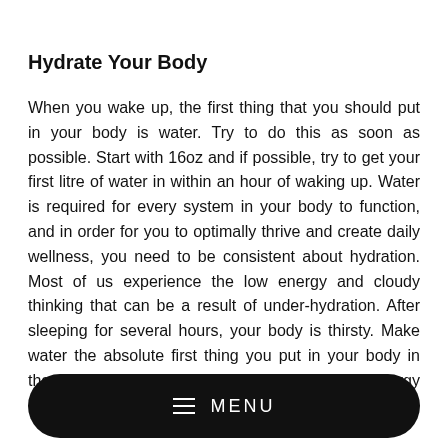Hydrate Your Body
When you wake up, the first thing that you should put in your body is water. Try to do this as soon as possible. Start with 16oz and if possible, try to get your first litre of water in within an hour of waking up. Water is required for every system in your body to function, and in order for you to optimally thrive and create daily wellness, you need to be consistent about hydration. Most of us experience the low energy and cloudy thinking that can be a result of under-hydration. After sleeping for several hours, your body is thirsty. Make water the absolute first thing you put in your body in the morning and see how it influences your energy levels and mindset. Always keep
MENU